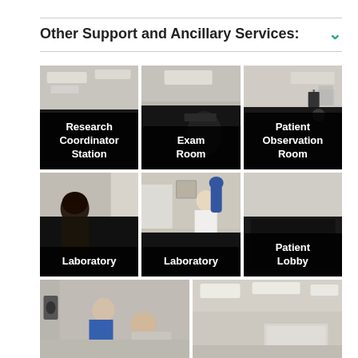Other Support and Ancillary Services:
[Figure (photo): Research Coordinator Station room interior with ceiling lights]
[Figure (photo): Exam Room interior, dark with chair visible]
[Figure (photo): Patient Observation Room with person visible]
[Figure (photo): Laboratory - person looking down at work]
[Figure (photo): Laboratory - person in white coat with blue gloves holding item]
[Figure (photo): Patient Lobby interior with ceiling lights]
[Figure (photo): Room with person in blue scrubs and patient, medical device visible]
[Figure (photo): Bright room interior with ceiling lights and whiteboard]